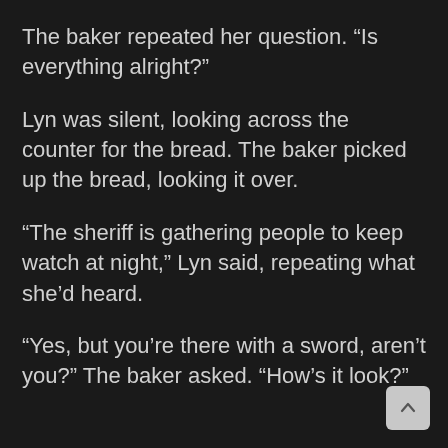The baker repeated her question. “Is everything alright?”
Lyn was silent, looking across the counter for the bread. The baker picked up the bread, looking it over.
“The sheriff is gathering people to keep watch at night,” Lyn said, repeating what she’d heard.
“Yes, but you’re there with a sword, aren’t you?” The baker asked. “How’s it look?”